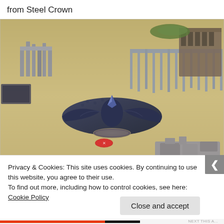from Steel Crown
[Figure (photo): Tabletop wargame miniatures scene: a large dark blue bat-winged creature miniature on a round base in the center foreground, with a small red token nearby. In the background are grey plastic terrain pieces resembling ruins, fences, and walls on a tan/beige gaming mat. Various small unit figures are visible in the distance.]
Privacy & Cookies: This site uses cookies. By continuing to use this website, you agree to their use.
To find out more, including how to control cookies, see here: Cookie Policy
Close and accept